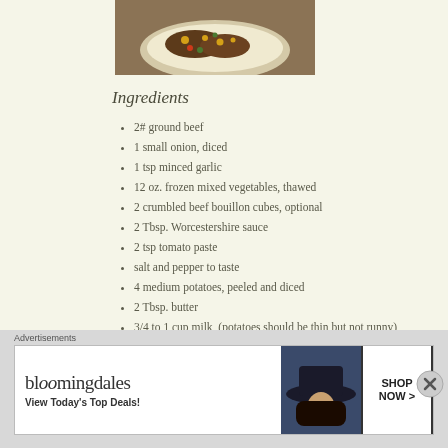[Figure (photo): Food photo showing a bowl of ground beef and vegetable dish]
Ingredients
2# ground beef
1 small onion, diced
1 tsp minced garlic
12 oz. frozen mixed vegetables, thawed
2 crumbled beef bouillon cubes, optional
2 Tbsp. Worcestershire sauce
2 tsp tomato paste
salt and pepper to taste
4 medium potatoes, peeled and diced
2 Tbsp. butter
3/4 to 1 cup milk, (potatoes should be thin but not runny)
1 Tbsp. parsley
1 cup shredded cheddar cheese
Advertisements
[Figure (other): Bloomingdale's advertisement banner - View Today's Top Deals! SHOP NOW >]